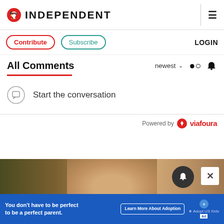INDEPENDENT
Contribute
Subscribe
LOGIN
All Comments
newest
Start the conversation
Powered by viafoura
[Figure (photo): Bottom portion of a person's head with blonde hair, partial face visible]
You don't have to be perfect to be a perfect parent.
Learn More About Adoption
Adopt US Kids Ad